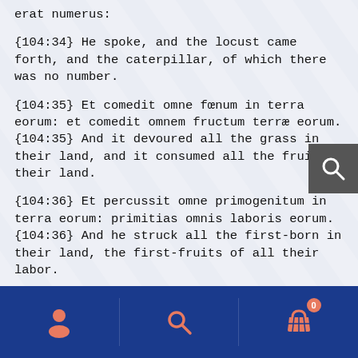erat numerus:
{104:34} He spoke, and the locust came forth, and the caterpillar, of which there was no number.
{104:35} Et comedit omne fœnum in terra eorum: et comedit omnem fructum terræ eorum.
{104:35} And it devoured all the grass in their land, and it consumed all the fruit of their land.
{104:36} Et percussit omne primogenitum in terra eorum: primitias omnis laboris eorum.
{104:36} And he struck all the first-born in their land, the first-fruits of all their labor.
{104:37} Et eduxit eos cum argento et auro: et non